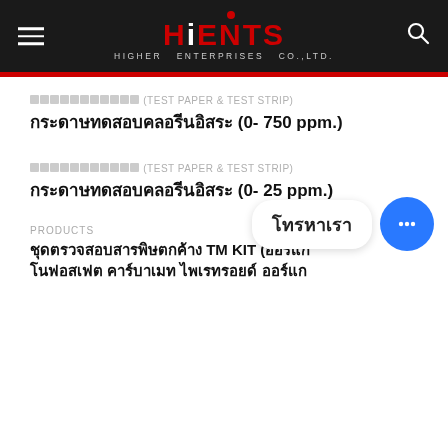HiENTS HIGHER ENTERPRISES CO.,LTD.
กระดาษทดสอบคลอรีนอิสระ (TEST PAPER & TEST STRIP) กระดาษทดสอบคลอรีนอิสระ (0- 750 ppm.)
กระดาษทดสอบคลอรีนอิสระ (TEST PAPER & TEST STRIP) กระดาษทดสอบคลอรีนอิสระ (0- 25 ppm.)
PRODUCTS ชุดตรวจสอบสารพิษตกค้าง TM KIT (ออร์แก โนฟอสเฟต คาร์บาเมท ไพเรทรอยด์ ออร์แก